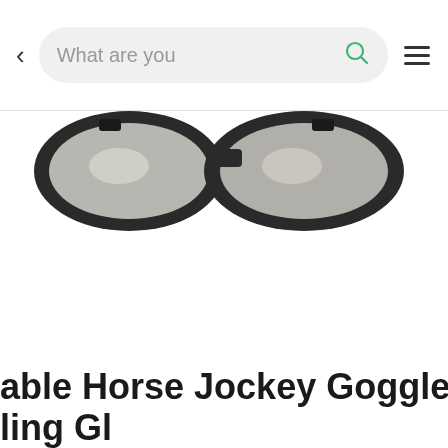[Figure (screenshot): Mobile app navigation bar with back arrow, search box reading 'What are you', search icon, and hamburger menu icon]
[Figure (photo): Partial product photo of horse jockey goggles with black frame, partially cropped at top]
able Horse Jockey Goggles PC l
ling Gl